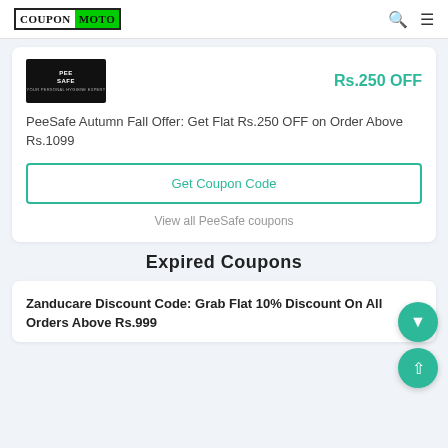CouponMoto
[Figure (logo): PeeSafe brand logo — black rectangle with PEE SAFE text in white]
Rs.250 OFF
PeeSafe Autumn Fall Offer: Get Flat Rs.250 OFF on Order Above Rs.1099
Get Coupon Code
View all PeeSafe coupons
Expired Coupons
Zanducare Discount Code: Grab Flat 10% Discount On All Orders Above Rs.999